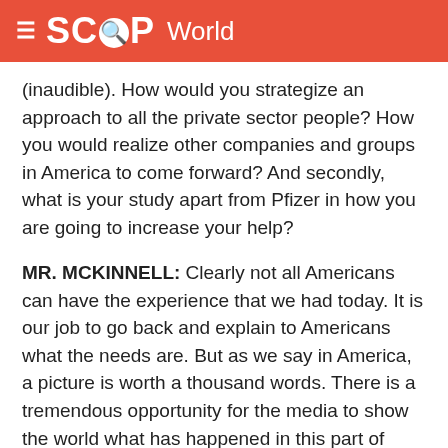SCOOP World
(inaudible). How would you strategize an approach to all the private sector people? How you would realize other companies and groups in America to come forward? And secondly, what is your study apart from Pfizer in how you are going to increase your help?
MR. MCKINNELL: Clearly not all Americans can have the experience that we had today. It is our job to go back and explain to Americans what the needs are. But as we say in America, a picture is worth a thousand words. There is a tremendous opportunity for the media to show the world what has happened in this part of Pakistan. You are very good at that. You are the